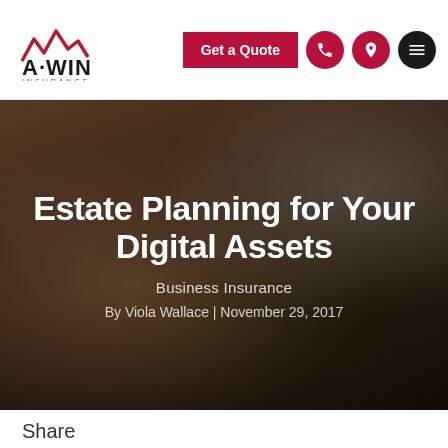[Figure (logo): A-WIN Insurance logo with stylized mountain/wave mark in red and black]
Get a Quote
[Figure (screenshot): Hero background showing funeral scene with casket and person holding white lilies, dark overlay]
Estate Planning for Your Digital Assets
Business Insurance
By Viola Wallace | November 29, 2017
Share